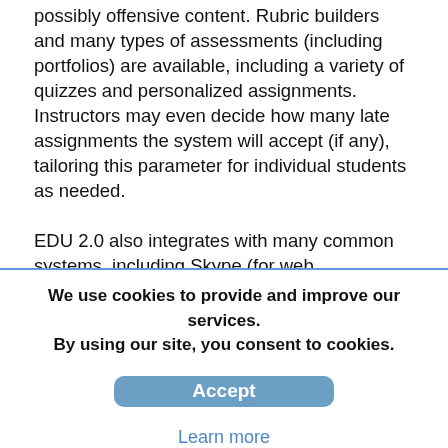possibly offensive content. Rubric builders and many types of assessments (including portfolios) are available, including a variety of quizzes and personalized assignments. Instructors may even decide how many late assignments the system will accept (if any), tailoring this parameter for individual students as needed.

EDU 2.0 also integrates with many common systems, including Skype (for web conferencing), Google Docs, LDAP, Calendars (iCal), and Paypal (for paid courses). A school-wide activity feed is also available.
We use cookies to provide and improve our services. By using our site, you consent to cookies.
Accept
Learn more